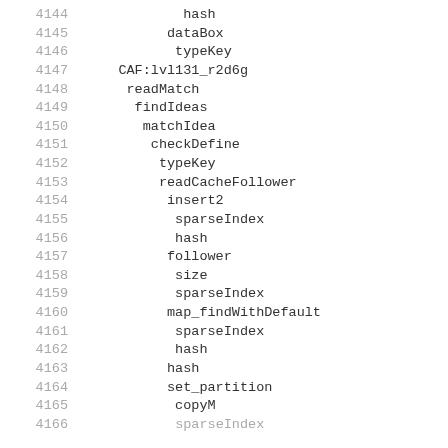4144    hash
4145    dataBox
4146    typeKey
4147    CAF:lvl131_r2d6g
4148    readMatch
4149    findIdeas
4150    matchIdea
4151    checkDefine
4152    typeKey
4153    readCacheFollower
4154    insert2
4155    sparseIndex
4156    hash
4157    follower
4158    size
4159    sparseIndex
4160    map_findWithDefault
4161    sparseIndex
4162    hash
4163    hash
4164    set_partition
4165    copyM
4166    sparseIndex